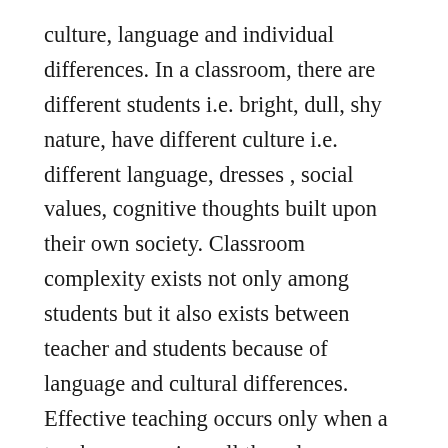culture, language and individual differences. In a classroom, there are different students i.e. bright, dull, shy nature, have different culture i.e. different language, dresses , social values, cognitive thoughts built upon their own society. Classroom complexity exists not only among students but it also exists between teacher and students because of language and cultural differences. Effective teaching occurs only when a teacher recognizes all these language and cultural differences and adjusts his/ her teaching according to the individual differences and students interests.
The present study was also designed for such